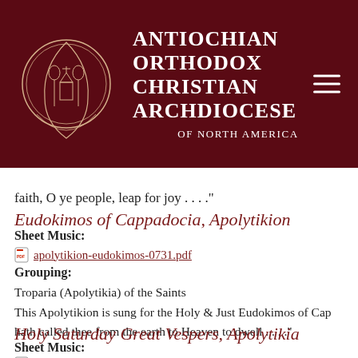Antiochian Orthodox Christian Archdiocese of North America
faith, O ye people, leap for joy . . . ."
Eudokimos of Cappadocia, Apolytikion
Sheet Music:
apolytikion-eudokimos-0731.pdf
Grouping:
Troparia (Apolytikia) of the Saints
This Apolytikion is sung for the Holy & Just Eudokimos of Cap hath called thee from the earth to Heaven to dwell . . . ."
Holy Saturday Great Vespers, Apolytikia
Sheet Music:
apolytikia-holy_saturday_great_vespers-ck-wn.pdf
The apolytikia that are sung at this service are on Holy Friday, after